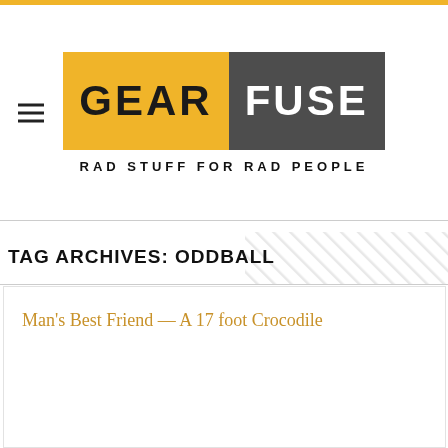[Figure (logo): GearFuse logo — GEAR in black text on gold/yellow background, FUSE in white text on dark gray background, with tagline RAD STUFF FOR RAD PEOPLE below]
TAG ARCHIVES: ODDBALL
Man's Best Friend — A 17 foot Crocodile